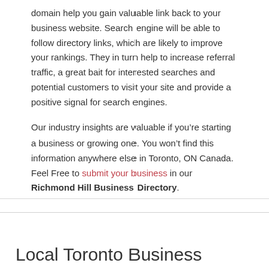domain help you gain valuable link back to your business website. Search engine will be able to follow directory links, which are likely to improve your rankings. They in turn help to increase referral traffic, a great bait for interested searches and potential customers to visit your site and provide a positive signal for search engines.
Our industry insights are valuable if you’re starting a business or growing one. You won’t find this information anywhere else in Toronto, ON Canada. Feel Free to submit your business in our Richmond Hill Business Directory.
Local Toronto Business